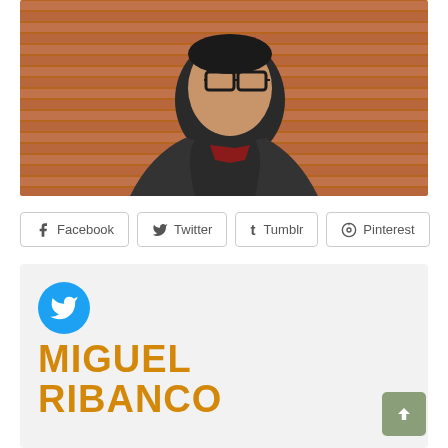[Figure (photo): Portrait photo of a young man wearing glasses and a dark jacket with a red shirt, standing in front of a brick wall, smiling slightly]
Facebook  Twitter  Tumblr  Pinterest
[Figure (logo): Twitter bird logo in blue circle]
MIGUEL RIBANCO